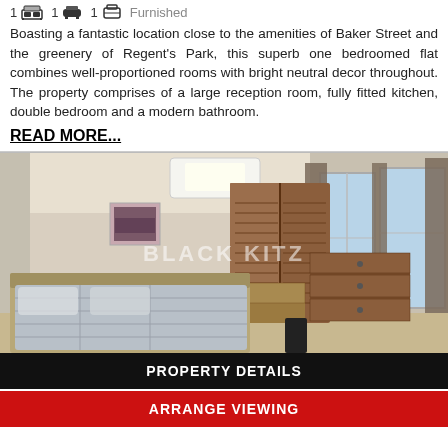1 [bed icon] 1 [sofa icon] 1 [bath icon] Furnished
Boasting a fantastic location close to the amenities of Baker Street and the greenery of Regent's Park, this superb one bedroomed flat combines well-proportioned rooms with bright neutral decor throughout. The property comprises of a large reception room, fully fitted kitchen, double bedroom and a modern bathroom.
READ MORE...
[Figure (photo): Bedroom photo showing a double bed with grey bedding, wooden wardrobe with louvred doors, chest of drawers, bay window with grey curtains, and a small piece of wall art. Watermark reads BLACK KITZ.]
PROPERTY DETAILS
ARRANGE VIEWING